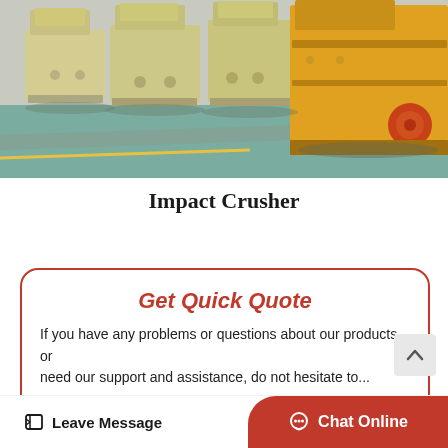[Figure (photo): A row of industrial impact crusher machines lined up in a factory warehouse. The machines are painted cream/beige and yellow, with large metal bodies and wheels visible. The flooring is light teal/green colored concrete.]
Impact Crusher
Get Quick Quote
If you have any problems or questions about our products or need our support and assistance...
Leave Message
Chat Online